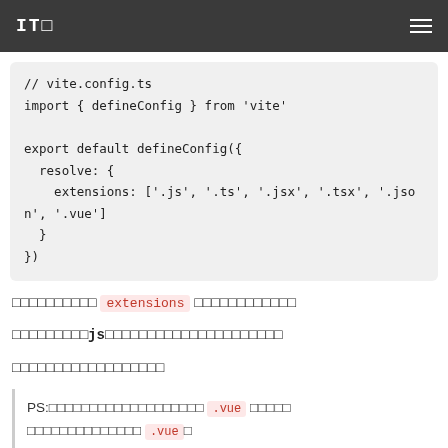ITO
// vite.config.ts
import { defineConfig } from 'vite'

export default defineConfig({
  resolve: {
    extensions: ['.js', '.ts', '.jsx', '.tsx', '.json', '.vue']
  }
})
拡張子の設定で extensions をリストアップします
初期設定ではjsしか見てくれないため、これらの拡張子を追加します
これで設定は完了になります
PS:Vueファイルの場合は .vue という拡張子が使われており .vue↑